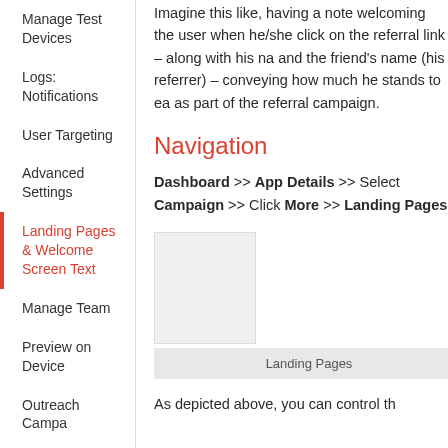Manage Test Devices
Logs: Notifications
User Targeting
Advanced Settings
Landing Pages & Welcome Screen Text
Manage Team
Preview on Device
Outreach Campaign
Imagine this like, having a note welcoming the user when he/she click on the referral link – along with his na and the friend's name (his referrer) – conveying how much he stands to ea as part of the referral campaign.
Navigation
Dashboard >> App Details >> Select Campaign >> Click More >> Landing Pages
[Figure (screenshot): Screenshot thumbnail of Landing Pages interface]
Landing Pages
As depicted above, you can control th